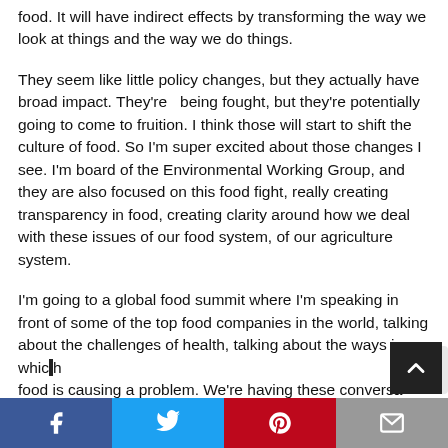food. It will have indirect effects by transforming the way we look at things and the way we do things.
They seem like little policy changes, but they actually have broad impact. They're  being fought, but they're potentially going to come to fruition. I think those will start to shift the culture of food. So I'm super excited about those changes I see. I'm board of the Environmental Working Group, and they are also focused on this food fight, really creating transparency in food, creating clarity around how we deal with these issues of our food system, of our agriculture system.
I'm going to a global food summit where I'm speaking in front of some of the top food companies in the world, talking about the challenges of health, talking about the ways in which food is causing a problem. We're having these conversa…